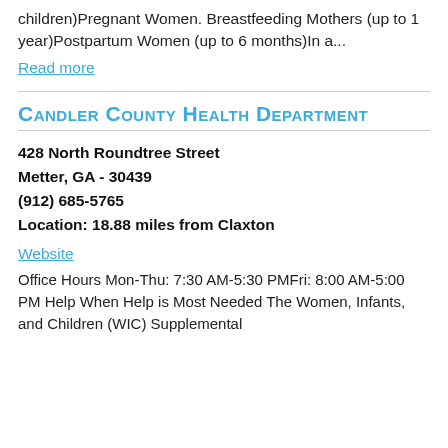children)Pregnant Women. Breastfeeding Mothers (up to 1 year)Postpartum Women (up to 6 months)In a...
Read more
Candler County Health Department
428 North Roundtree Street
Metter, GA - 30439
(912) 685-5765
Location: 18.88 miles from Claxton
Website
Office Hours Mon-Thu: 7:30 AM-5:30 PMFri: 8:00 AM-5:00 PM Help When Help is Most Needed The Women, Infants, and Children (WIC) Supplemental